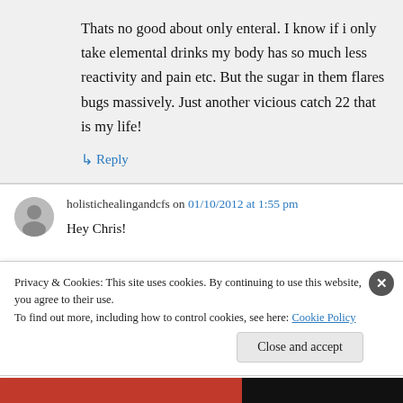Thats no good about only enteral. I know if i only take elemental drinks my body has so much less reactivity and pain etc. But the sugar in them flares bugs massively. Just another vicious catch 22 that is my life!
↳ Reply
holistichealingandcfs on 01/10/2012 at 1:55 pm
Hey Chris!
Privacy & Cookies: This site uses cookies. By continuing to use this website, you agree to their use. To find out more, including how to control cookies, see here: Cookie Policy
Close and accept